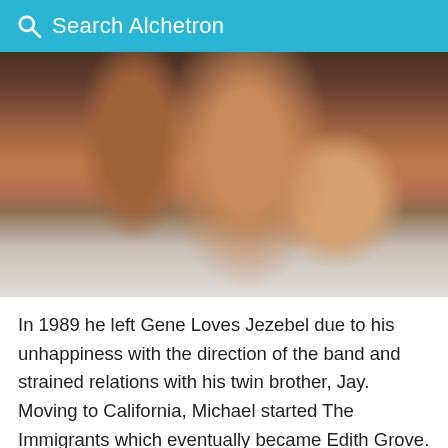Search Alchetron
[Figure (photo): Close-up photo of a person's arms, showing skin and muscles, with a white t-shirt visible in the background.]
In 1989 he left Gene Loves Jezebel due to his unhappiness with the direction of the band and strained relations with his twin brother, Jay. Moving to California, Michael started The Immigrants which eventually became Edith Grove. Edith Grove released its debut album to rave reviews Michael eventually decided to tone things down a
Covid-19